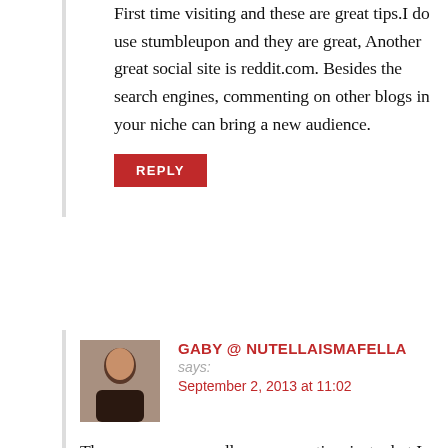First time visiting and these are great tips.I do use stumbleupon and they are great, Another great social site is reddit.com. Besides the search engines, commenting on other blogs in your niche can bring a new audience.
REPLY
GABY @ NUTELLAISMAFELLA says: September 2, 2013 at 11:02
These were some really awesome tips, just what I needed for my own blog 😀 Thanks
REPLY
TONY ROSE says: September 26, 2013 at 04:33